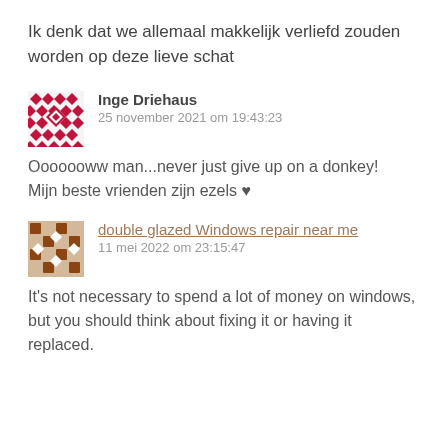Ik denk dat we allemaal makkelijk verliefd zouden worden op deze lieve schat
Inge Driehaus
25 november 2021 om 19:43:23
Ooooooww man...never just give up on a donkey!
Mijn beste vrienden zijn ezels ♥
double glazed Windows repair near me
11 mei 2022 om 23:15:47
It's not necessary to spend a lot of money on windows,
but you should think about fixing it or having it replaced.